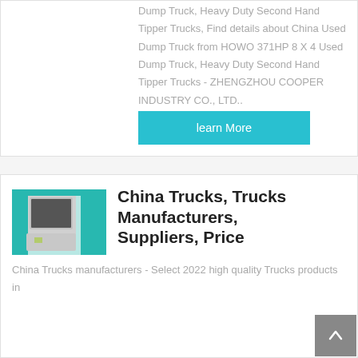Dump Truck, Heavy Duty Second Hand Tipper Trucks, Find details about China Used Dump Truck from HOWO 371HP 8 X 4 Used Dump Truck, Heavy Duty Second Hand Tipper Trucks - ZHENGZHOU COOPER INDUSTRY CO., LTD..
learn More
[Figure (photo): Photo of truck interior cab door panel, teal/turquoise color exterior visible]
China Trucks, Trucks Manufacturers, Suppliers, Price
China Trucks manufacturers - Select 2022 high quality Trucks products in